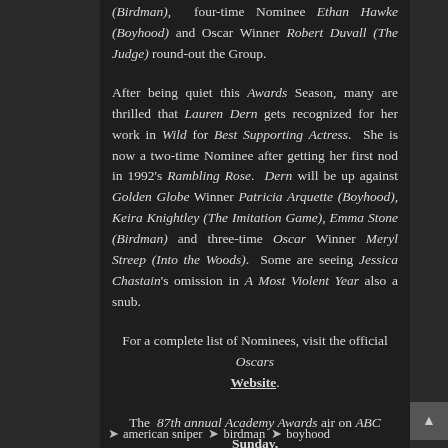(Birdman), four-time Nominee Ethan Hawke (Boyhood) and Oscar Winner Robert Duvall (The Judge) round-out the Group.
After being quiet this Awards Season, many are thrilled that Lauren Dern gets recognized for her work in Wild for Best Supporting Actress. She is now a two-time Nominee after getting her first nod in 1992's Rambling Rose. Dern will be up against Golden Globe Winner Patricia Arquette (Boyhood), Keira Knightley (The Imitation Game), Emma Stone (Birdman) and three-time Oscar Winner Meryl Streep (Into the Woods). Some are seeing Jessica Chastain's omission in A Most Violent Year also a snub.
For a complete list of Nominees, visit the official Oscars Website.
The 87th annual Academy Awards air on ABC Sunday, February 22, 2015 at 7:00 PM EST.
(Photo credit: ABC)
american sniper
birdman
boyhood